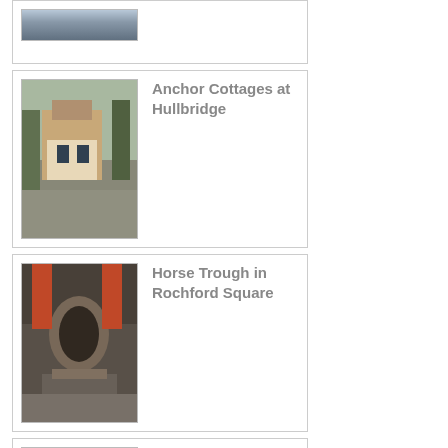[Figure (photo): Partial photo at top of page, cropped]
[Figure (photo): Anchor Cottages at Hullbridge - photo of historic cottages on a road]
Anchor Cottages at Hullbridge
[Figure (photo): Horse Trough in Rochford Square - stone horse trough]
Horse Trough in Rochford Square
[Figure (photo): Graves at Little Stambridge Hall - outdoor graves among trees]
Graves at Little Stambridge Hall
[Figure (photo): Rayleigh Labour Party Dance 1953 - black and white group photo]
Rayleigh Labour Party Dance 1953